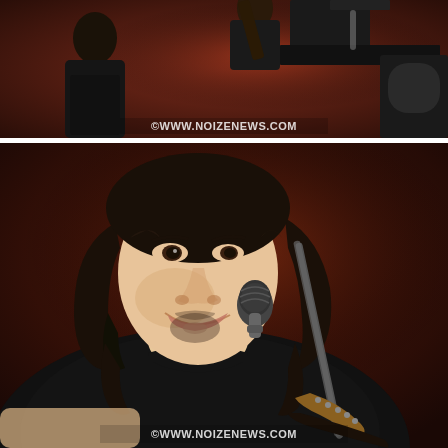[Figure (photo): Top concert photo showing a musician with curly hair and another person at a keyboard/piano, stage equipment and reddish backdrop visible. Watermark '©WWW.NOIZENEWS.COM' at bottom.]
[Figure (photo): Close-up concert photo of a dark-haired male singer smiling at a microphone, wearing a black t-shirt and holding a guitar strap with studs, dark reddish background. Watermark '©WWW.NOIZENEWS.COM' at bottom.]